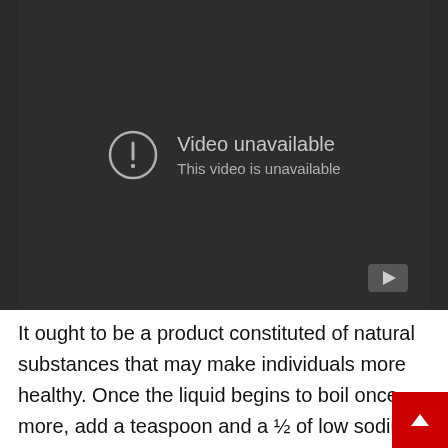[Figure (screenshot): Embedded video player showing 'Video unavailable. This video is unavailable.' message on a dark background with a YouTube play button in the bottom-right corner.]
It ought to be a product constituted of natural substances that may make individuals more healthy. Once the liquid begins to boil once more, add a teaspoon and a ½ of low sodium, p[ure] chicken broth paste. Dip each bit of turkey into the flour